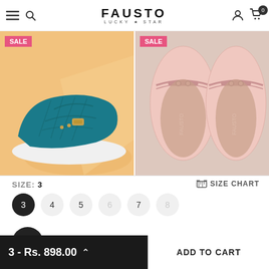FAUSTO LUCKY STAR
[Figure (photo): Two product images side by side: left shows a teal/blue suede mule sneaker on a warm yellow background with SALE badge; right shows pink leather loafers viewed from above on a grey-pink background with SALE badge.]
SIZE: 3
SIZE CHART
3
4
5
6
7
8
3 - Rs. 898.00
ADD TO CART